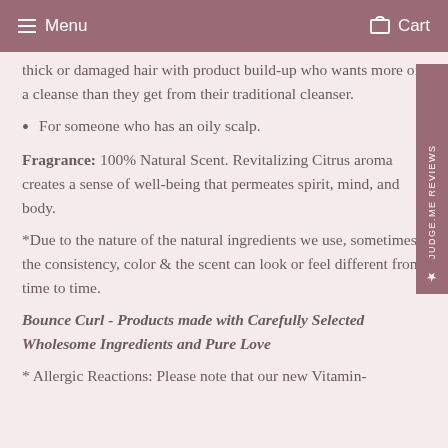Menu  Cart
thick or damaged hair with product build-up who wants more of a cleanse than they get from their traditional cleanser.
For someone who has an oily scalp.
Fragrance: 100% Natural Scent. Revitalizing Citrus aroma creates a sense of well-being that permeates spirit, mind, and body.
*Due to the nature of the natural ingredients we use, sometimes the consistency, color & the scent can look or feel different from time to time.
Bounce Curl - Products made with Carefully Selected Wholesome Ingredients and Pure Love
* Allergic Reactions: Please note that our new Vitamin-